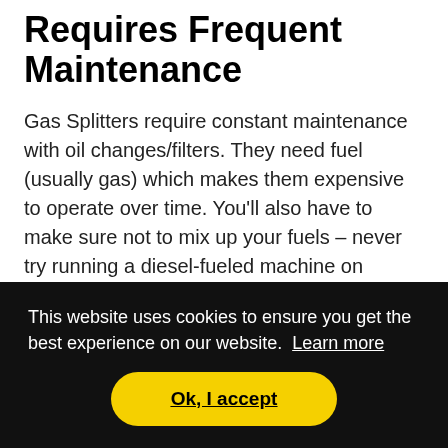Requires Frequent Maintenance
Gas Splitters require constant maintenance with oil changes/filters. They need fuel (usually gas) which makes them expensive to operate over time. You'll also have to make sure not to mix up your fuels – never try running a diesel-fueled machine on gasoline as this could cause irreparable damage!
Quite Loud
[Figure (screenshot): Cookie consent banner overlay with dark background. Text reads: 'This website uses cookies to ensure you get the best experience on our website. Learn more'. Yellow 'Ok, I accept' button below.]
happening around them. A gas-powered